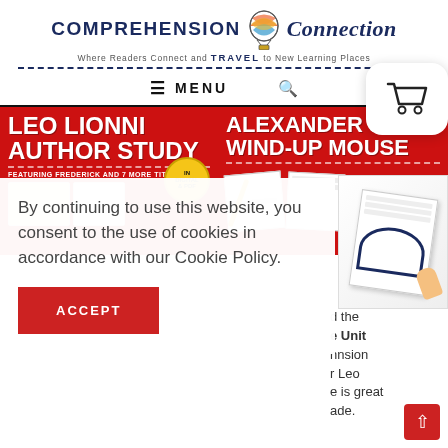[Figure (logo): Comprehension Connection logo with hot air balloon, tagline 'Where Readers Connect and TRAVEL to New Learning Places']
≡ MENU 🔍
[Figure (photo): Leo Lionni Author Study product cover - red background with white bold text, showing digital worksheets]
[Figure (photo): Alexander & The Wind-Up Mouse product cover - red background with white bold text, showing worksheets]
By continuing to use this website, you consent to the use of cookies in accordance with our Cookie Policy.
ACCEPT
d the e Unit nnsion r Leo e is great ade.